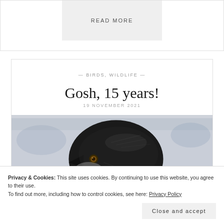READ MORE
— BIRDS, WILDLIFE —
Gosh, 15 years!
19 NOVEMBER 2021
[Figure (photo): A close-up drawing or painting of a bird's head (appears to be a corvid/raven), rendered in black ink with a blue watercolor background, shown on a white paper surface.]
Privacy & Cookies: This site uses cookies. By continuing to use this website, you agree to their use.
To find out more, including how to control cookies, see here: Privacy Policy
Close and accept